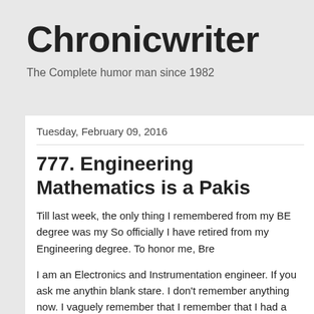Chronicwriter
The Complete humor man since 1982
Tuesday, February 09, 2016
777. Engineering Mathematics is a Pakis
Till last week, the only thing I remembered from my BE degree was my So officially I have retired from my Engineering degree. To honor me, Bre
I am an Electronics and Instrumentation engineer. If you ask me anythin blank stare. I don't remember anything now. I vaguely remember that I remember that I had a subject called field theory in my 5th semester.
Then there was this huge book written by A.K Sawhney. If Philip K specialise in marketing, then AK Sahney's book is the bible for all Instr book for 200 Rupees and bought an underwear and a Beatles CD from f